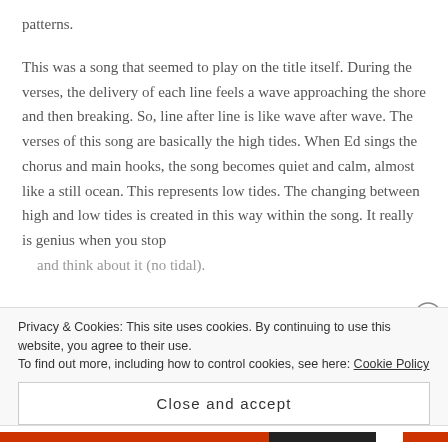patterns.
This was a song that seemed to play on the title itself. During the verses, the delivery of each line feels a wave approaching the shore and then breaking. So, line after line is like wave after wave. The verses of this song are basically the high tides. When Ed sings the chorus and main hooks, the song becomes quiet and calm, almost like a still ocean. This represents low tides. The changing between high and low tides is created in this way within the song. It really is genius when you stop
Privacy & Cookies: This site uses cookies. By continuing to use this website, you agree to their use.
To find out more, including how to control cookies, see here: Cookie Policy
Close and accept